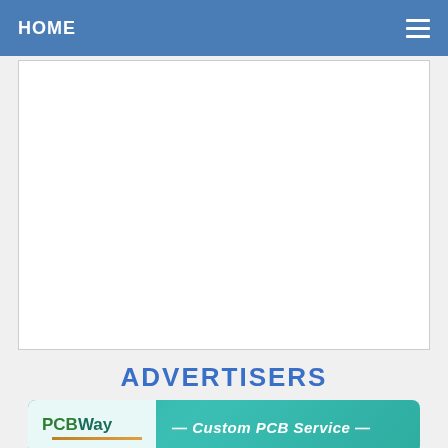HOME
[Figure (other): White content area box (blank/empty content region)]
ADVERTISERS
[Figure (logo): PCBWay banner advertisement — Custom PCB Service]